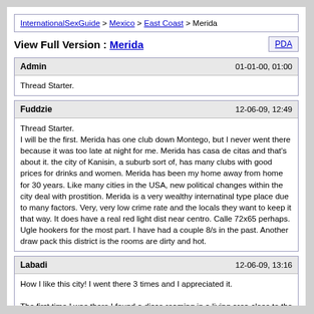InternationalSexGuide > Mexico > East Coast > Merida
View Full Version : Merida
| Admin | 01-01-00, 01:00 |
| --- | --- |
| Thread Starter. |  |
| Fuddzie | 12-06-09, 12:49 |
| --- | --- |
| Thread Starter.
I will be the first. Merida has one club down Montego, but I never went there because it was too late at night for me. Merida has casa de citas and that’s about it. the city of Kanisin, a suburb sort of, has many clubs with good prices for drinks and women. Merida has been my home away from home for 30 years. Like many cities in the USA, new political changes within the city deal with prostition. Merida is a very wealthy internatinal type place due to many factors. Very, very low crime rate and the locals they want to keep it that way. It does have a real red light dist near centro. Calle 72x65 perhaps. Ugle hookers for the most part. I have had a couple 8/s in the past. Another draw pack this district is the rooms are dirty and hot. |  |
| Labadi | 12-06-09, 13:16 |
| --- | --- |
| How I like this city! I went there 3 times and I appreciated it.

The first time I was there I found a disco roaming in a living area close to the center. In there after midnight with hot and steamy girls I have been to late. No lonely girl. Sadly I went off, met 3 Meridian guys who really wanted to help me. With their car we reached a old house, outside some girls. All of us picked out one of them. As a guest, I had the first choice. We went in a small room and |  |